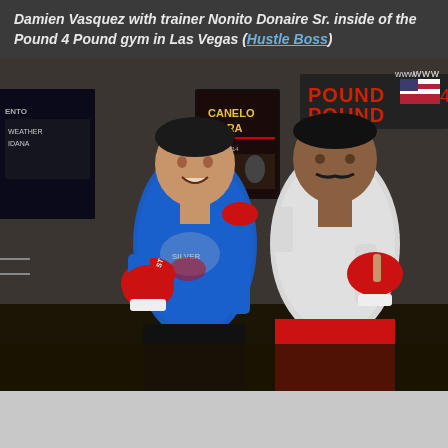Damien Vasquez with trainer Nonito Donaire Sr. inside of the Pound 4 Pound gym in Las Vegas (Hustle Boss)
[Figure (photo): Photo of Damien Vasquez (in blue shirt and red Everlast boxing gloves) posing with trainer Nonito Donaire Sr. (in white shirt and red boxing gloves) inside a boxing gym with fight posters on the wall including Canelo vs Lara. A 'Pound 4 Pound' sign is visible in the background.]